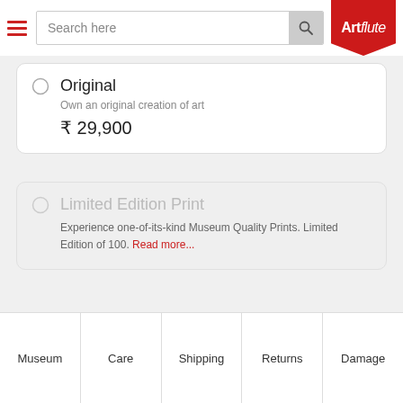[Figure (screenshot): Artflute e-commerce website header with hamburger menu, search bar, and red Artflute logo]
Original
Own an original creation of art
₹ 29,900
Limited Edition Print
Experience one-of-its-kind Museum Quality Prints. Limited Edition of 100. Read more...
Buy Now
Museum | Care | Shipping | Returns | Damage